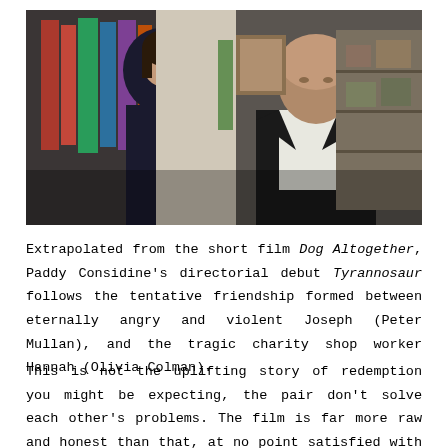[Figure (photo): Film still showing two people in what appears to be a charity shop. A woman with short dark hair in a dark top faces an older bald man in a dark suit with white shirt. Clothing racks and shelves visible in background.]
Extrapolated from the short film Dog Altogether, Paddy Considine's directorial debut Tyrannosaur follows the tentative friendship formed between eternally angry and violent Joseph (Peter Mullan), and the tragic charity shop worker Hannah (Olivia Colman).
This is not the uplifting story of redemption you might be expecting, the pair don't solve each other's problems. The film is far more raw and honest than that, at no point satisfied with walking the expected path. To say there is a plot twist would make the story seem too